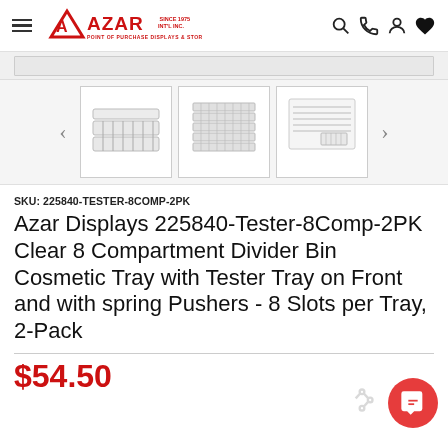AZAR INT'L INC. POINT OF PURCHASE DISPLAYS & STORE FIXTURES
[Figure (screenshot): Three product thumbnail images of clear compartment divider bin cosmetic trays shown in a carousel with left and right navigation arrows]
SKU: 225840-TESTER-8COMP-2PK
Azar Displays 225840-Tester-8Comp-2PK Clear 8 Compartment Divider Bin Cosmetic Tray with Tester Tray on Front and with spring Pushers - 8 Slots per Tray, 2-Pack
$54.50